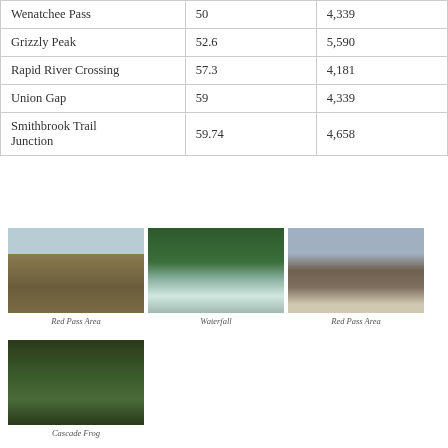| Wenatchee Pass | 50 | 4,339 |
| Grizzly Peak | 52.6 | 5,590 |
| Rapid River Crossing | 57.3 | 4,181 |
| Union Gap | 59 | 4,339 |
| Smithbrook Trail Junction | 59.74 | 4,658 |
[Figure (photo): Red Pass Area - open meadow with mountains in background under overcast sky]
Red Pass Area
[Figure (photo): Waterfall cascading through forested gorge]
Waterfall
[Figure (photo): Red Pass Area - rocky mountain slope with patches of snow]
Red Pass Area
[Figure (photo): Cascade Frog in mossy forest floor setting]
Cascade Frog